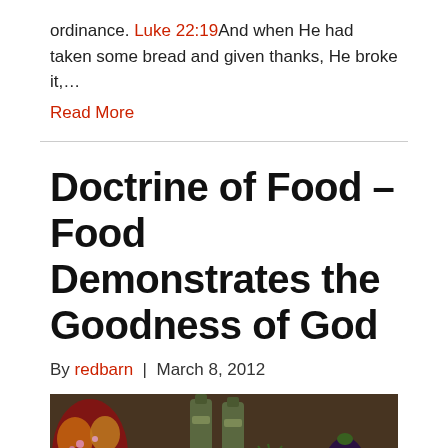ordinance. Luke 22:19And when He had taken some bread and given thanks, He broke it,...
Read More
Doctrine of Food – Food Demonstrates the Goodness of God
By redbarn | March 8, 2012
[Figure (photo): A photograph of various vegetables and food items including a tomato, eggplant, garlic, and other produce arranged on a table with condiment bottles in the background.]